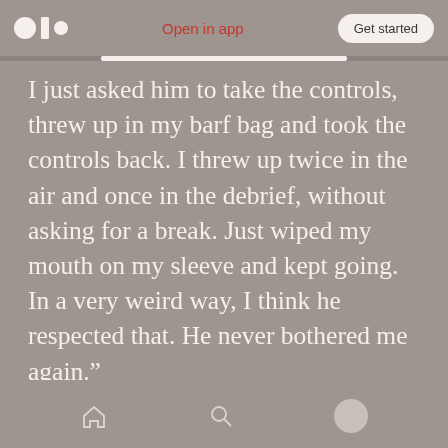Open in app | Get started
I just asked him to take the controls, threw up in my barf bag and took the controls back. I threw up twice in the air and once in the debrief, without asking for a break. Just wiped my mouth on my sleeve and kept going. In a very weird way, I think he respected that. He never bothered me again.”
The environment was the same in units.
“As a woman, it was impossible to be